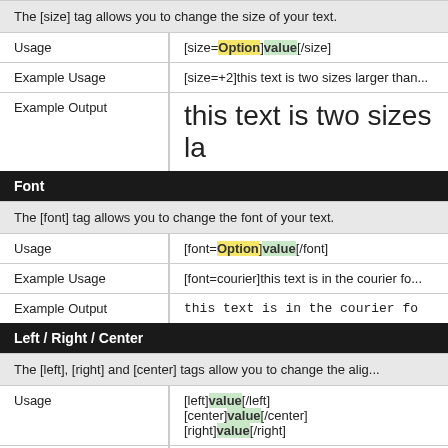| Field | Value |
| --- | --- |
|  | The [size] tag allows you to change the size of your text. |
| Usage | [size=Option]value[/size] |
| Example Usage | [size=+2]this text is two sizes larger than... |
| Example Output | this text is two sizes la... |
| Field | Value |
| --- | --- |
| Font |  |
|  | The [font] tag allows you to change the font of your text. |
| Usage | [font=Option]value[/font] |
| Example Usage | [font=courier]this text is in the courier fo... |
| Example Output | this text is in the courier fo... |
| Field | Value |
| --- | --- |
| Left / Right / Center |  |
|  | The [left], [right] and [center] tags allow you to change the alig... |
| Usage | [left]value[/left]
[center]value[/center]
[right]value[/right] |
| Example Usage | [left]this text is left-aligned[/left]
[center]this text is center-aligned[/center]
[right]this text is right-aligned[/right] |
| Example Output | this text is left-aligned... |